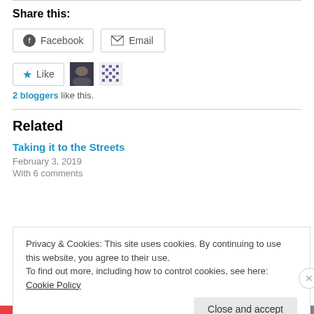Share this:
Facebook   Email
[Figure (other): Like button with star icon, two blogger avatars shown next to it]
2 bloggers like this.
Related
Taking it to the Streets
February 3, 2019
With 6 comments
Privacy & Cookies: This site uses cookies. By continuing to use this website, you agree to their use.
To find out more, including how to control cookies, see here: Cookie Policy
Close and accept